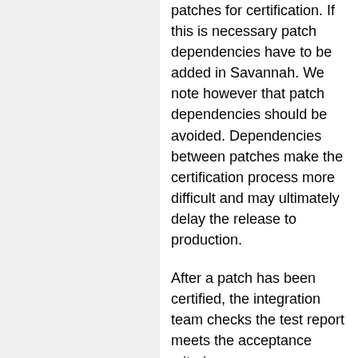patches for certification. If this is necessary patch dependencies have to be added in Savannah. We note however that patch dependencies should be avoided. Dependencies between patches make the certification process more difficult and may ultimately delay the release to production.
After a patch has been certified, the integration team checks the test report meets the acceptance criteria (https://twiki.cern.ch/twiki/bin/view/Ma [R26]) and if everything is correct considers the patch is verified. If a test is missing or a mandatory test has failed, the